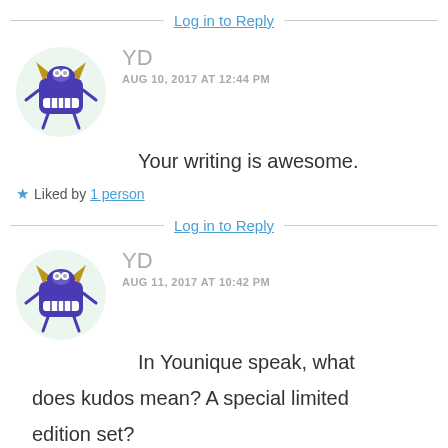Log in to Reply
[Figure (illustration): Cartoon monster avatar: purple square-bodied creature with golden horns, white teeth, and stick limbs, on a light green circular background]
YD
AUG 10, 2017 AT 12:44 PM
Your writing is awesome.
Liked by 1 person
Log in to Reply
[Figure (illustration): Cartoon monster avatar: purple square-bodied creature with golden horns, white teeth, and stick limbs, on a light green circular background]
YD
AUG 11, 2017 AT 10:42 PM
In Younique speak, what does kudos mean? A special limited edition set?